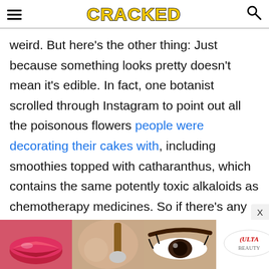CRACKED
weird. But here's the other thing: Just because something looks pretty doesn't mean it's edible. In fact, one botanist scrolled through Instagram to point out all the poisonous flowers people were decorating their cakes with, including smoothies topped with catharanthus, which contains the same potently toxic alkaloids as chemotherapy medicines. So if there's any lesson here, it's this: Social media is full of lies, and if you're looking for health and fitness advice, go see an actual trained professional. Unless they have an
[Figure (photo): Ulta Beauty advertisement banner with makeup/cosmetics imagery including lips, brushes, eye makeup and the Ulta logo with SHOP NOW call to action]